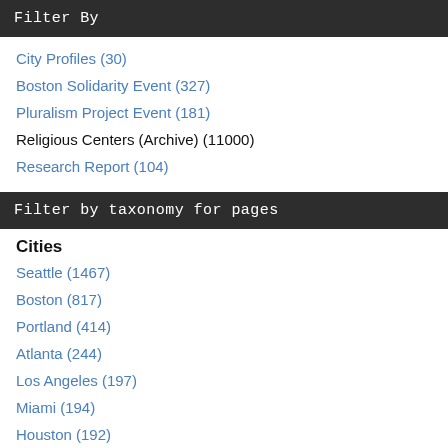Filter By
City Profiles (30)
Boston Solidarity Event (327)
Pluralism Project Event (181)
Religious Centers (Archive) (11000)
Research Report (104)
Filter by taxonomy for pages
Cities
Seattle (1467)
Boston (817)
Portland (414)
Atlanta (244)
Los Angeles (197)
Miami (194)
Houston (192)
San Diego (178)